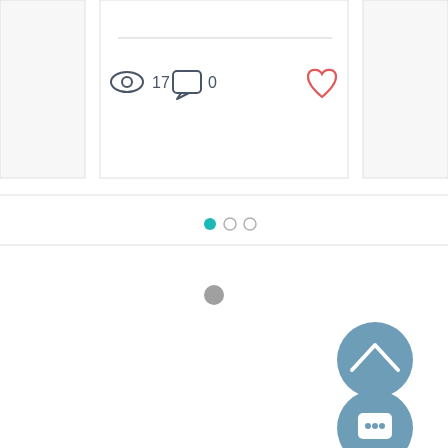[Figure (screenshot): A blog or social post card UI element showing a horizontal divider line, view count icon (eye) with number 17, comment icon with number 0, and a red heart/like icon. Below the card are three pagination dots (teal, gray, gray). A horizontal rule separates sections. A gray loading spinner dot appears in the center. Two teal circular buttons in the bottom right: one with an upward chevron arrow, one with a chat/message bubble icon.]